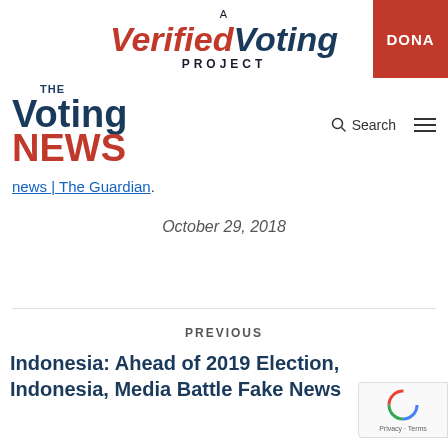A Verified Voting Project | DONATE
THE Voting NEWS
news | The Guardian.
October 29, 2018
PREVIOUS
Indonesia: Ahead of 2019 Election, Indonesia, Media Battle Fake News